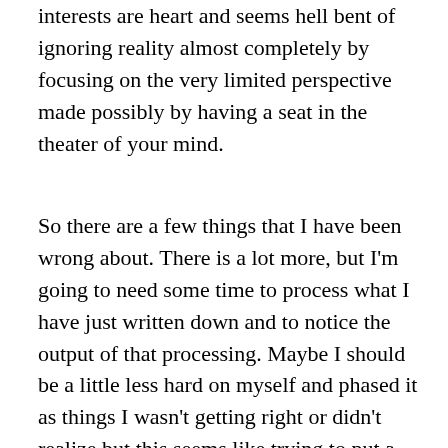interests are heart and seems hell bent of ignoring reality almost completely by focusing on the very limited perspective made possibly by having a seat in the theater of your mind.
So there are a few things that I have been wrong about. There is a lot more, but I'm going to need some time to process what I have just written down and to notice the output of that processing. Maybe I should be a little less hard on myself and phased it as things I wasn't getting right or didn't realize but this seems like trying to put a nice spin on things. It doesn't really matter when all is said and done. History is what it is and since my brain works hard to create a meaning that is coherent I have no doubt that I've already stopped feeling